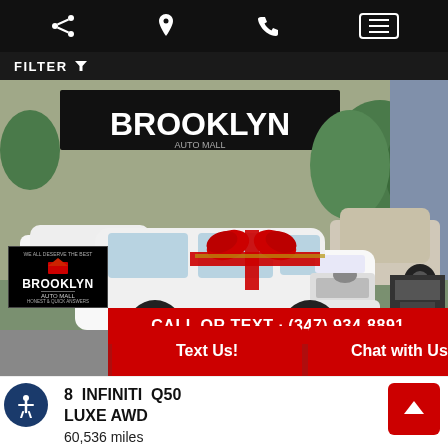Navigation bar with share, location, phone, and menu icons
FILTER
[Figure (photo): White Infiniti Q50 sedan with a large red and gold gift bow on the hood, parked at Brooklyn Auto Mall dealership lot with other vehicles visible in background. Brooklyn banner visible on building.]
CALL OR TEXT · (347) 934-8891
EAS    OKLYN
Text Us!
Chat with Us!
8 INFINITI Q50 LUXE AWD
60,536 miles